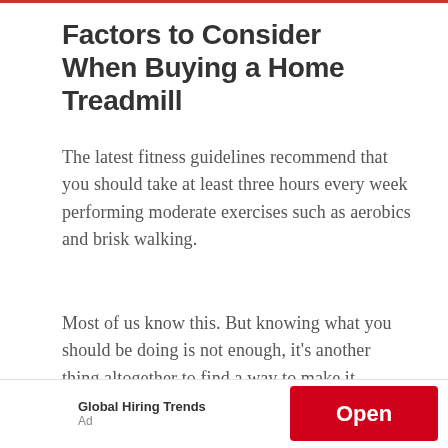Factors to Consider When Buying a Home Treadmill
The latest fitness guidelines recommend that you should take at least three hours every week performing moderate exercises such as aerobics and brisk walking.
Most of us know this. But knowing what you should be doing is not enough, it's another thing altogether to find a way to make it happen.
[Figure (other): Advertisement banner with 'Global Hiring Trends' text, 'Open' button in red, and small play/close icons. Labeled 'Ad'.]